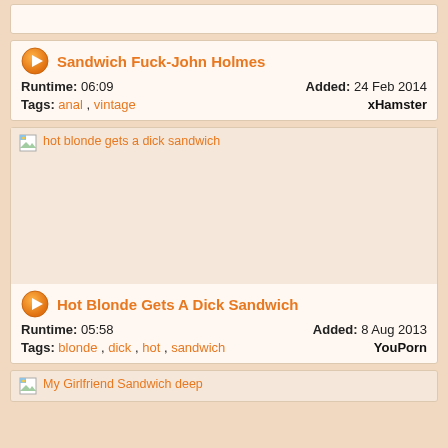[Figure (screenshot): Partial video thumbnail placeholder at top of page]
Sandwich Fuck-John Holmes
Runtime: 06:09    Added: 24 Feb 2014
Tags: anal , vintage    xHamster
[Figure (photo): Broken image placeholder for 'hot blonde gets a dick sandwich' thumbnail]
Hot Blonde Gets A Dick Sandwich
Runtime: 05:58    Added: 8 Aug 2013
Tags: blonde , dick , hot , sandwich    YouPorn
[Figure (photo): Partial broken image placeholder for 'My Girlfriend Sandwich deep' thumbnail]